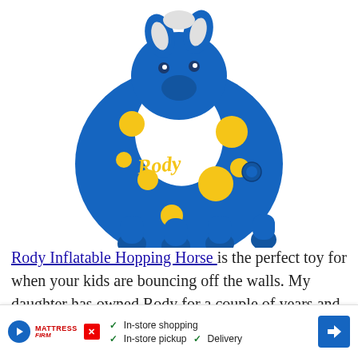[Figure (photo): Blue Rody inflatable hopping horse toy with yellow polka dots and white chest patch, viewed from front-side angle. The toy has four small round feet and the brand name 'Rody' in yellow script on its side.]
Rody Inflatable Hopping Horse is the perfect toy for when your kids are bouncing off the walls. My daughter has owned Rody for a couple of years and he has withstood plenty of enthusiastic toddler bouncing. Rody's level of inflation can be adjusted to fit th... [partially obscured] ...py for indoo... [partially obscured] ...elps
[Figure (infographic): Advertisement banner for Mattress Firm showing: a blue circular play button icon, Mattress Firm logo in red, a red X close button, checkmarks listing 'In-store shopping', 'In-store pickup', 'Delivery', and a blue diamond-shaped navigation arrow icon on the right.]